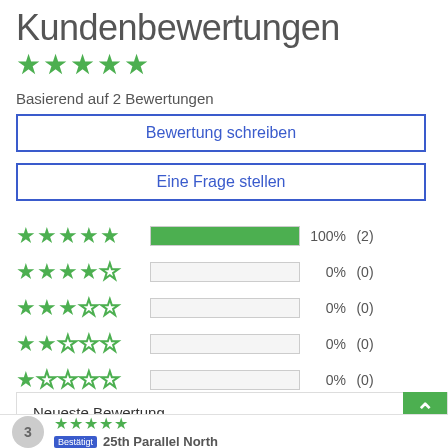Kundenbewertungen
★★★★★
Basierend auf 2 Bewertungen
Bewertung schreiben
Eine Frage stellen
[Figure (bar-chart): Star rating distribution]
Neueste Bewertung
3
★★★★★
Bestätigt 25th Parallel North